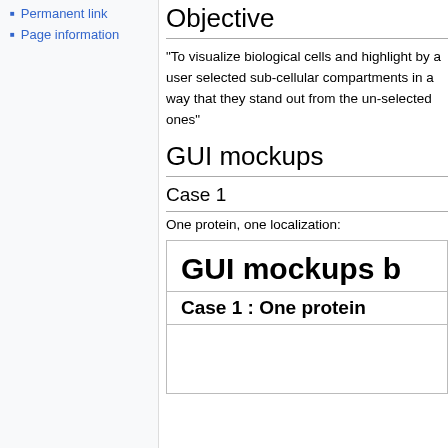Permanent link
Page information
Objective
"To visualize biological cells and highlight by a user selected sub-cellular compartments in a way that they stand out from the un-selected ones"
GUI mockups
Case 1
One protein, one localization:
[Figure (screenshot): A GUI mockup screenshot showing 'GUI mockups b' as title and 'Case 1 : One protein' as subtitle, with empty content area below]